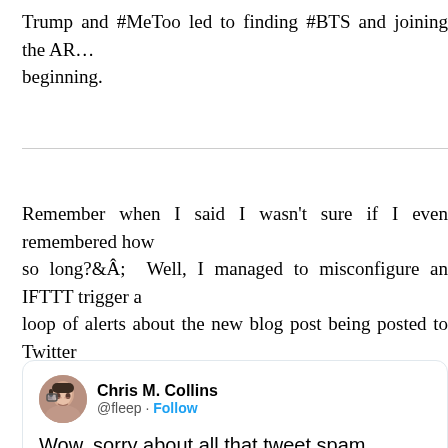Trump and #MeToo led to finding #BTS and joining the AR… beginning.
Remember when I said I wasn't sure if I even remembered how so long?  Well, I managed to misconfigure an IFTTT trigger a loop of alerts about the new blog post being posted to Twitter post on here that I had tweeted, which triggered a new tweet.. over again!  Thank goodness a RL friend texted me to let problem.  Thanks Phil!
[Figure (screenshot): Tweet from Chris M. Collins (@fleep) with Follow button. Tweet text: 'Wow, sorry about all that tweet spam. Misconfig IFTTT trigger, doh. How embarrassing 😳']